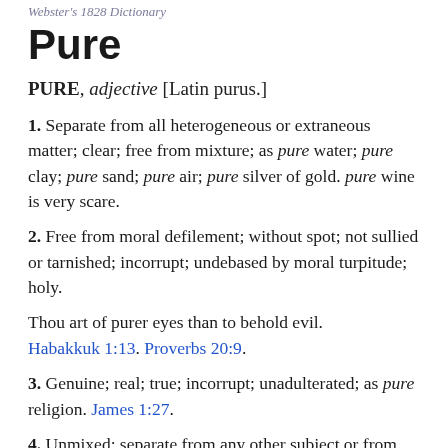Webster's 1828 Dictionary
Pure
PURE, adjective [Latin purus.]
1. Separate from all heterogeneous or extraneous matter; clear; free from mixture; as pure water; pure clay; pure sand; pure air; pure silver of gold. pure wine is very scare.
2. Free from moral defilement; without spot; not sullied or tarnished; incorrupt; undebased by moral turpitude; holy.
Thou art of purer eyes than to behold evil. Habakkuk 1:13. Proverbs 20:9.
3. Genuine; real; true; incorrupt; unadulterated; as pure religion. James 1:27.
4. Unmixed; separate from any other subject or from every thing foreign; as pure